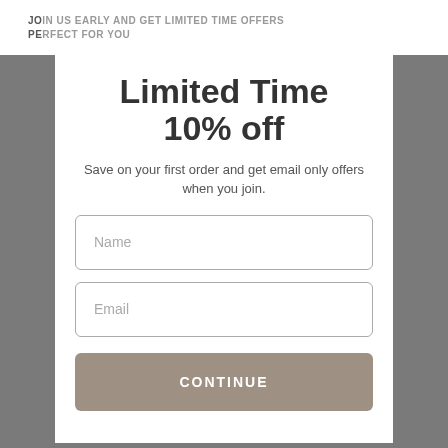JOIN US EARLY AND GET LIMITED TIME OFFERS
PERFECT FOR YOU
Limited Time
10% off
Save on your first order and get email only offers when you join.
Name
Email
CONTINUE